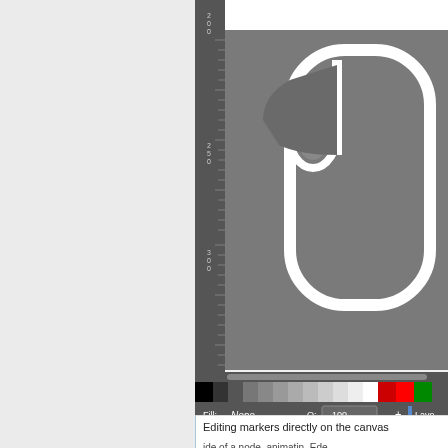[Figure (screenshot): Inkscape vector editor screenshot showing a canvas with a large mouse/cursor icon drawn in white outline on dark gray background. Left side shows the application's left panel (gray). A vertical ruler is visible on the left edge of the canvas. At the bottom of the canvas area is a color palette bar with black, gray gradients, red swatches. Below that is a status/tool bar showing Fill: None, Stroke: black 2.00, Opacity: 100, and Layer controls.]
Editing markers directly on the canvas
ide of a node, animatin. Ede